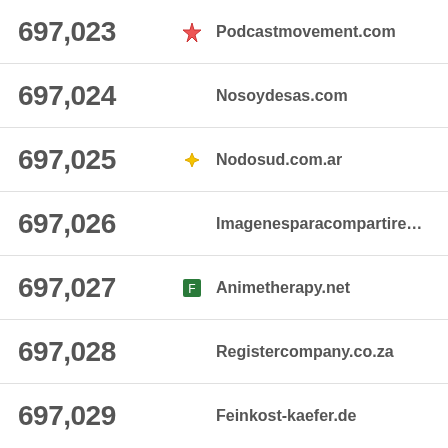697,023 Podcastmovement.com
697,024 Nosoydesas.com
697,025 Nodosud.com.ar
697,026 Imagenesparacompartirenfb.co
697,027 Animetherapy.net
697,028 Registercompany.co.za
697,029 Feinkost-kaefer.de